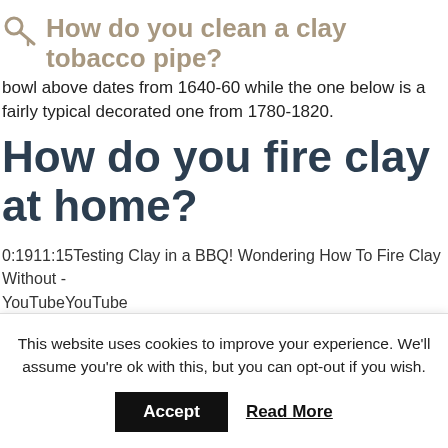How do you clean a clay tobacco pipe?
bowl above dates from 1640-60 while the one below is a fairly typical decorated one from 1780-1820.
How do you fire clay at home?
0:1911:15Testing Clay in a BBQ! Wondering How To Fire Clay Without - YouTubeYouTube
[Figure (other): Video timeline/progress bar with tick marks]
This website uses cookies to improve your experience. We'll assume you're ok with this, but you can opt-out if you wish.
Accept   Read More